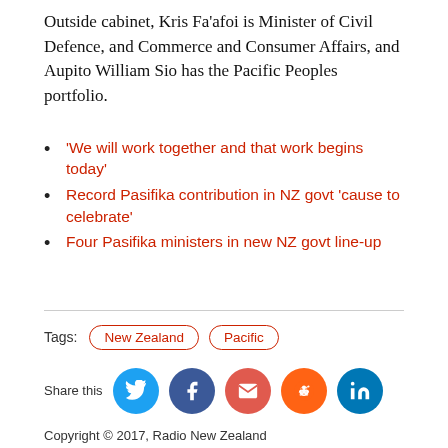Outside cabinet, Kris Fa'afoi is Minister of Civil Defence, and Commerce and Consumer Affairs, and Aupito William Sio has the Pacific Peoples portfolio.
'We will work together and that work begins today'
Record Pasifika contribution in NZ govt 'cause to celebrate'
Four Pasifika ministers in new NZ govt line-up
Tags: New Zealand  Pacific
Share this
Copyright © 2017, Radio New Zealand